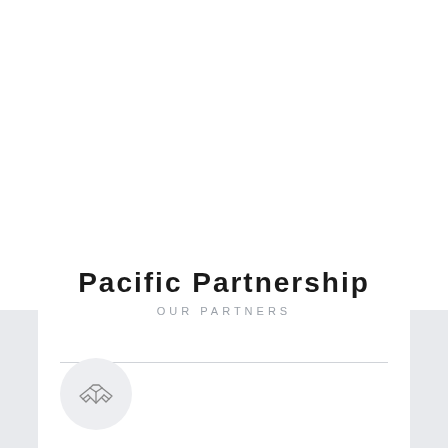Pacific Partnership
OUR PARTNERS
[Figure (illustration): Handshake icon inside a light gray circle, minimalist line art style]